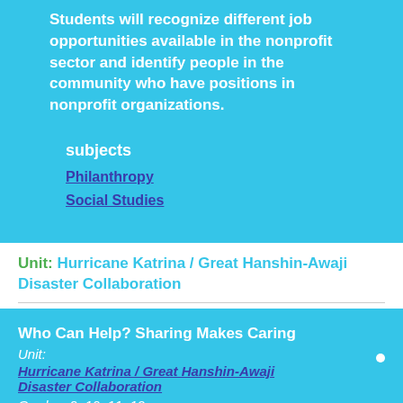Students will recognize different job opportunities available in the nonprofit sector and identify people in the community who have positions in nonprofit organizations.
subjects
Philanthropy
Social Studies
Unit: Hurricane Katrina / Great Hanshin-Awaji Disaster Collaboration
Who Can Help? Sharing Makes Caring
Unit: Hurricane Katrina / Great Hanshin-Awaji Disaster Collaboration
Grades: 9, 10, 11, 12